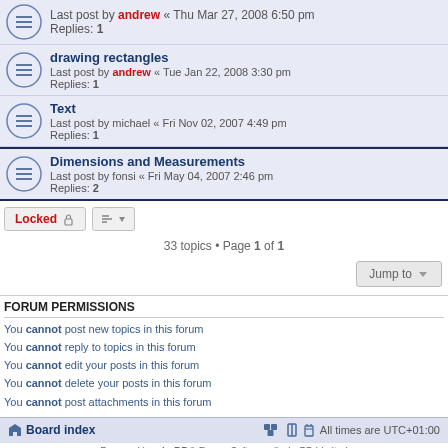drawing rectangles - Last post by andrew « Tue Jan 22, 2008 3:30 pm - Replies: 1
Text - Last post by michael « Fri Nov 02, 2007 4:49 pm - Replies: 1
Dimensions and Measurements - Last post by fonsi « Fri May 04, 2007 2:46 pm - Replies: 2
Locked | sort button
33 topics • Page 1 of 1
Jump to
FORUM PERMISSIONS
You cannot post new topics in this forum
You cannot reply to topics in this forum
You cannot edit your posts in this forum
You cannot delete your posts in this forum
You cannot post attachments in this forum
Board index | All times are UTC+01:00
Powered by phpBB® Forum Software © phpBB Limited Time: 0.083s | Queries: 14 | Peak Memory Usage: 2.69 MiB